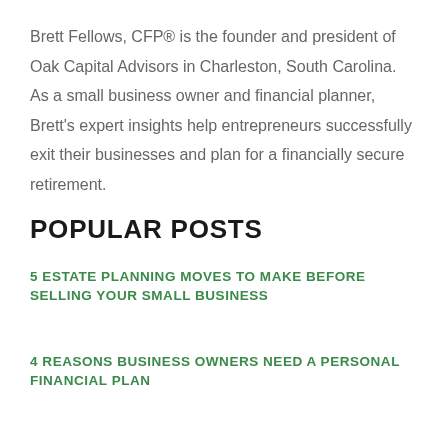Brett Fellows, CFP® is the founder and president of Oak Capital Advisors in Charleston, South Carolina. As a small business owner and financial planner, Brett's expert insights help entrepreneurs successfully exit their businesses and plan for a financially secure retirement.
POPULAR POSTS
5 ESTATE PLANNING MOVES TO MAKE BEFORE SELLING YOUR SMALL BUSINESS
4 REASONS BUSINESS OWNERS NEED A PERSONAL FINANCIAL PLAN